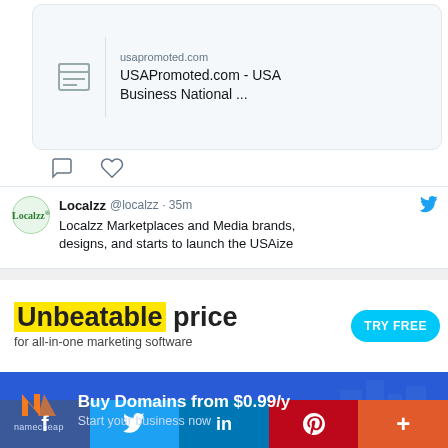usapromoted.com
USAPromoted.com - USA Business National ...
Localzz @localzz · 35m
Localzz Marketplaces and Media brands, designs, and starts to launch the USAize
[Figure (infographic): Advertisement banner: 'Unbeatable price for all-in-one marketing software' with TRY FREE button]
[Figure (infographic): Namecheap advertisement: Buy Domains from $0.99/y, Start your business now]
[Figure (infographic): Social media share bar with Facebook, Twitter, LinkedIn, Pinterest, and More buttons]